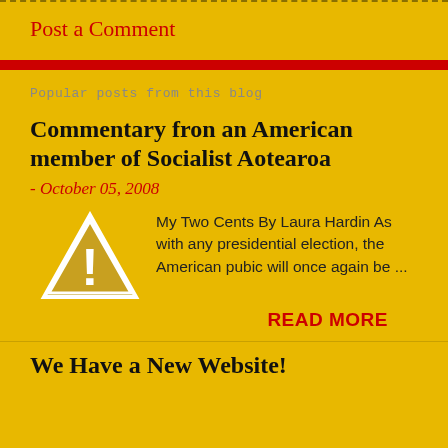Post a Comment
Popular posts from this blog
Commentary fron an American member of Socialist Aotearoa
- October 05, 2008
My Two Cents By Laura Hardin As with any presidential election, the American pubic will once again be ...
READ MORE
We Have a New Website!